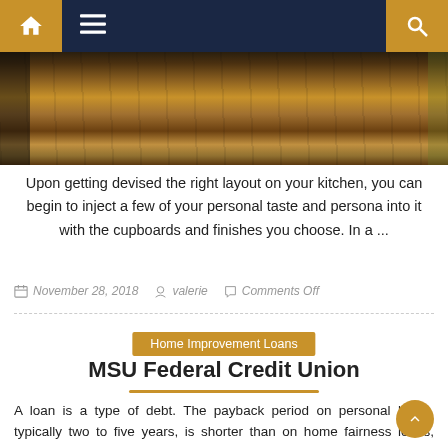[Figure (photo): Navigation bar with home icon, hamburger menu, and search icon on dark navy background with gold/orange accent panels]
[Figure (photo): Partial kitchen photo showing wooden floor and furniture legs]
Upon getting devised the right layout on your kitchen, you can begin to inject a few of your personal taste and persona into it with the cupboards and finishes you choose. In a ...
November 28, 2018   valerie   Comments Off
Home Improvement Loans
MSU Federal Credit Union
A loan is a type of debt. The payback period on personal loans, typically two to five years, is shorter than on home fairness loans, which may vary from five to twenty years, or HELOCs, which can have draw intervals of up to 10 years. I'll